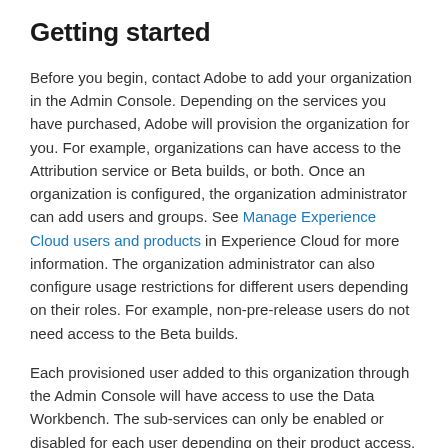Getting started
Before you begin, contact Adobe to add your organization in the Admin Console. Depending on the services you have purchased, Adobe will provision the organization for you. For example, organizations can have access to the Attribution service or Beta builds, or both. Once an organization is configured, the organization administrator can add users and groups. See Manage Experience Cloud users and products in Experience Cloud for more information. The organization administrator can also configure usage restrictions for different users depending on their roles. For example, non-pre-release users do not need access to the Beta builds.
Each provisioned user added to this organization through the Admin Console will have access to use the Data Workbench. The sub-services can only be enabled or disabled for each user depending on their product access. When a user is upgraded from certificate to IMS, all local data will be copied to the new